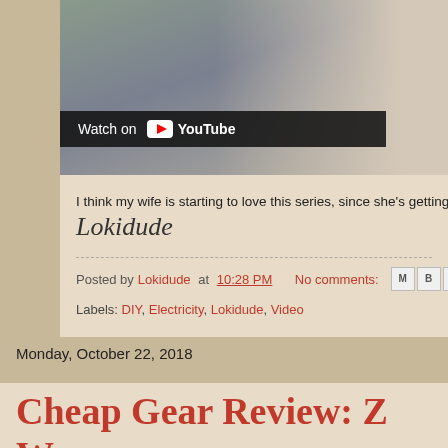[Figure (screenshot): YouTube video thumbnail showing a person, with 'Watch on YouTube' overlay button]
I think my wife is starting to love this series, since she's getting upgra...
Lokidude
Posted by Lokidude at 10:28 PM    No comments:
Labels: DIY, Electricity, Lokidude, Video
Monday, October 22, 2018
Cheap Gear Review: Z... Warmers